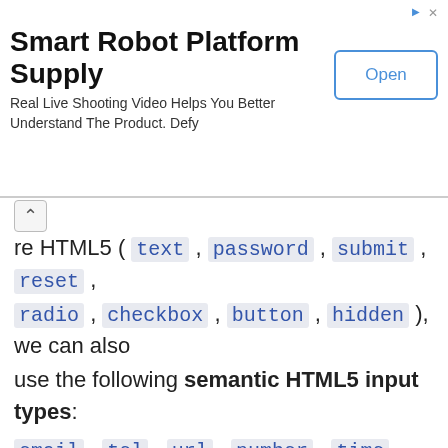[Figure (other): Advertisement banner for Smart Robot Platform Supply with Open button]
ore HTML5 ( text , password , submit , reset , radio , checkbox , button , hidden ), we can also use the following semantic HTML5 input types: email , tel , url , number , time , date , datetime , datetime-local , month , week , range , search , color .
We can safely use HTML5 input types with older browsers, as they will behave as an <input type="text"> field in browsers that don't support them.